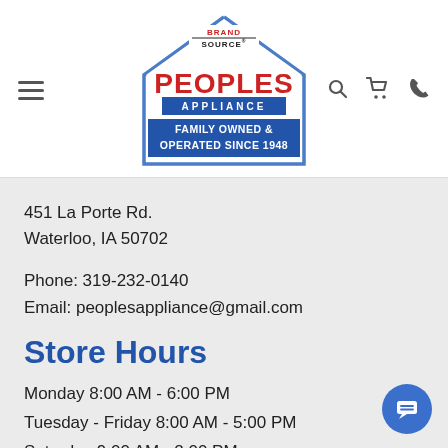[Figure (logo): Peoples Appliance Brand Source logo — house outline with PEOPLES in red, APPLIANCE on a blue bar, BRAND SOURCE at top, Family Owned & Operated Since 1948 on blue banner. Navigation icons: hamburger menu, search, cart, phone.]
451 La Porte Rd.
Waterloo, IA 50702
Phone: 319-232-0140
Email: peoplesappliance@gmail.com
Store Hours
Monday 8:00 AM - 6:00 PM
Tuesday - Friday 8:00 AM - 5:00 PM
Saturday 9:00 AM - 2:00 PM